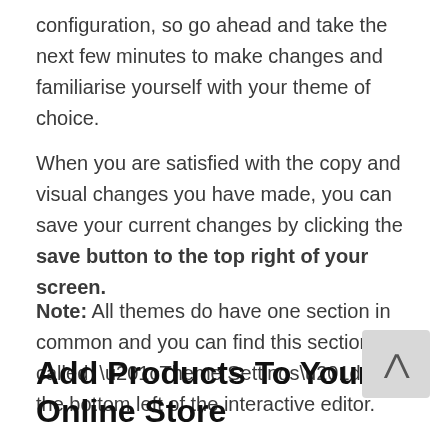configuration, so go ahead and take the next few minutes to make changes and familiarise yourself with your theme of choice.
When you are satisfied with the copy and visual changes you have made, you can save your current changes by clicking the save button to the top right of your screen.
Note: All themes do have one section in common and you can find this section called “Theme Settings” at the bottom left of the interactive editor.
Add Products To Your Online Store
Now that you have your theme set up, you are all set...